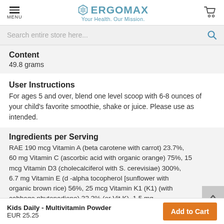MENU | ERGOMAX Your Health. Our Mission.
Search entire store here...
Content
49.8 grams
User Instructions
For ages 5 and over, blend one level scoop with 6-8 ounces of your child's favorite smoothie, shake or juice. Please use as intended.
Ingredients per Serving
RAE 190 mcg Vitamin A (beta carotene with carrot) 23.7%, 60 mg Vitamin C (ascorbic acid with organic orange) 75%, 15 mcg Vitamin D3 (cholecalciferol with S. cerevisiae) 300%, 6.7 mg Vitamin E (d -alpha tocopherol [sunflower with organic brown rice) 56%, 25 mcg Vitamin K1 (K1) (with cabbage phytonadione) 33.3% (or Vit K), 1.5 mg
Kids Daily - Multivitamin Powder | EUR 25.25 | Add to Cart